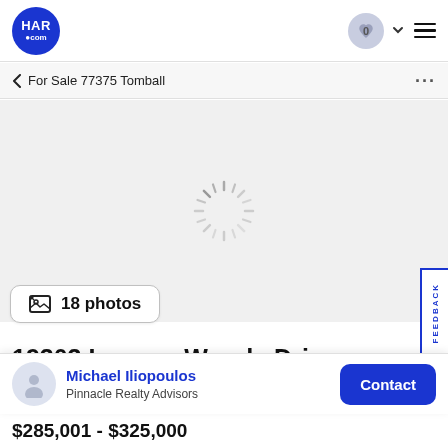[Figure (logo): HAR.com logo - blue circle with white text]
< For Sale 77375 Tomball
...
[Figure (photo): Loading spinner on grey background - property photo loading]
18 photos
19303 Laguna Woods Drive
Michael Iliopoulos
Pinnacle Realty Advisors
$285,001 - $325,000